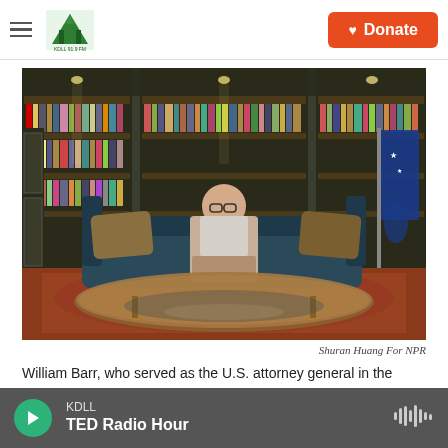KDLL 91.9 FM | Donate
[Figure (photo): Man seated on a dark blue sofa in a library room with tall bookshelves filled with books, an American flag to the right, and a large oval glass coffee table in the foreground. Reflection visible in the table.]
Shuran Huang For NPR
William Barr, who served as the U.S. attorney general in the
KDLL | TED Radio Hour